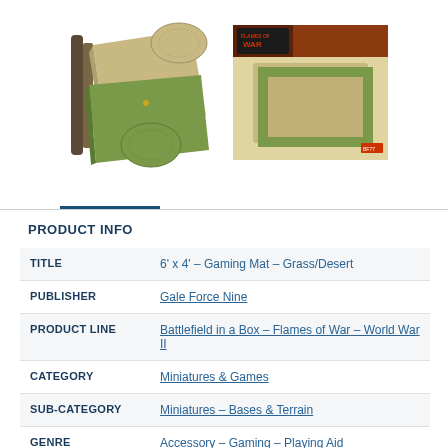[Figure (photo): Two product images showing the 6'x4' Gaming Mat - Grass/Desert. Left image shows the rolled mat with grass and desert sides visible, with circular base mat samples. Right image shows the product box for Flames of War with flat mat samples.]
PRODUCT INFO
| TITLE | 6' x 4' - Gaming Mat - Grass/Desert |
| PUBLISHER | Gale Force Nine |
| PRODUCT LINE | Battlefield in a Box - Flames of War - World War II |
| CATEGORY | Miniatures & Games |
| SUB-CATEGORY | Miniatures - Bases & Terrain |
| GENRE | Accessory - Gaming - Playing Aid |